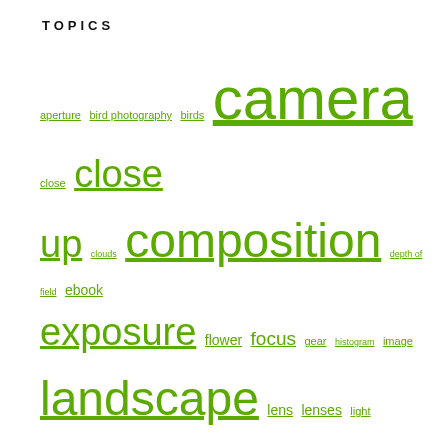TOPICS
aperture bird photography birds camera close close up clouds composition depth of field ebook exposure flower focus gear histogram image landscape lens lenses light Macro moon nature nature photography photo photograph photography photonaturalist photos photoshop sharp sharpness subject sun sunrise sunset telephoto Tips tripod vision weather wild wildflower wildflowers Wildlife